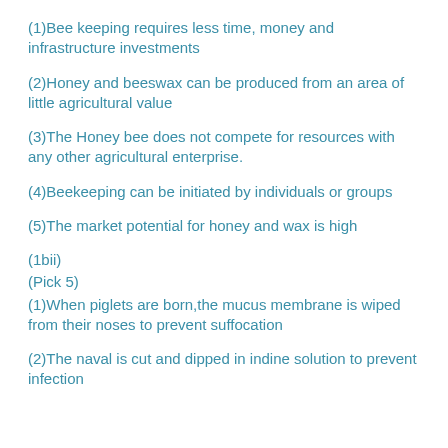(1)Bee keeping requires less time, money and infrastructure investments
(2)Honey and beeswax can be produced from an area of little agricultural value
(3)The Honey bee does not compete for resources with any other agricultural enterprise.
(4)Beekeeping can be initiated by individuals or groups
(5)The market potential for honey and wax is high
(1bii)
(Pick 5)
(1)When piglets are born,the mucus membrane is wiped from their noses to prevent suffocation
(2)The naval is cut and dipped in indine solution to prevent infection